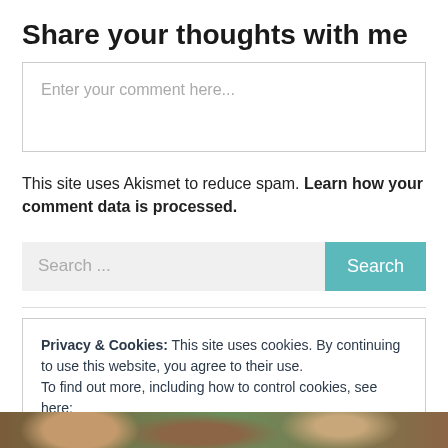Share your thoughts with me
Enter your comment here...
This site uses Akismet to reduce spam. Learn how your comment data is processed.
Search ...
Privacy & Cookies: This site uses cookies. By continuing to use this website, you agree to their use.
To find out more, including how to control cookies, see here:
Cookie and Privacy Policy
Close and accept
[Figure (photo): Partial view of a photo at the bottom of the page, showing what appears to be an animal with brown fur and green elements.]